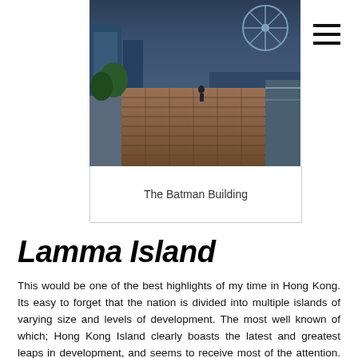[Figure (photo): Urban waterfront scene in Hong Kong with a brick promenade, city buildings, and what appears to be a ferris wheel in the background at dusk or evening]
The Batman Building
Lamma Island
This would be one of the best highlights of my time in Hong Kong. Its easy to forget that the nation is divided into multiple islands of varying size and levels of development. The most well known of which; Hong Kong Island clearly boasts the latest and greatest leaps in development, and seems to receive most of the attention. Other than Kowloon and Lantau Island (with the airport), thankfully the surrounding islands are left practically